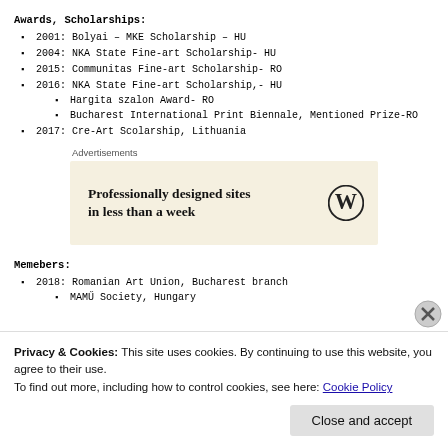Awards, Scholarships:
2001: Bolyai – MKE Scholarship – HU
2004: NKA State Fine-art Scholarship- HU
2015: Communitas Fine-art Scholarship- RO
2016: NKA State Fine-art Scholarship,- HU
Hargita szalon Award- RO
Bucharest International Print Biennale, Mentioned Prize-RO
2017: Cre-Art Scolarship, Lithuania
[Figure (other): WordPress advertisement banner: 'Professionally designed sites in less than a week' with WordPress logo]
Memebers:
2018: Romanian Art Union, Bucharest branch
MAMŰ Society, Hungary
Privacy & Cookies: This site uses cookies. By continuing to use this website, you agree to their use.
To find out more, including how to control cookies, see here: Cookie Policy
Close and accept